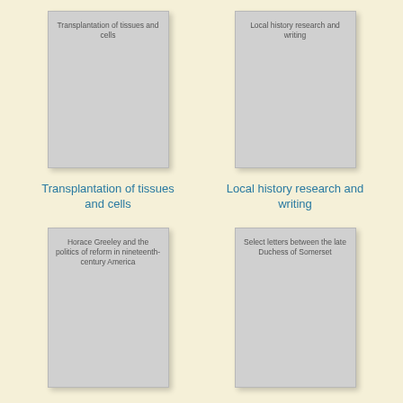[Figure (illustration): Book cover thumbnail for 'Transplantation of tissues and cells' with gray cover and title text at top]
[Figure (illustration): Book cover thumbnail for 'Local history research and writing' with gray cover and title text at top]
Transplantation of tissues and cells
Local history research and writing
[Figure (illustration): Book cover thumbnail for 'Horace Greeley and the politics of reform in nineteenth-century America' with gray cover and title text at top]
[Figure (illustration): Book cover thumbnail for 'Select letters between the late Duchess of Somerset' with gray cover and title text at top]